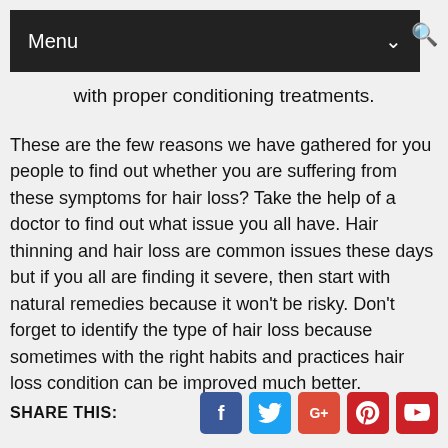Menu
with proper conditioning treatments.
These are the few reasons we have gathered for you people to find out whether you are suffering from these symptoms for hair loss? Take the help of a doctor to find out what issue you all have. Hair thinning and hair loss are common issues these days but if you all are finding it severe, then start with natural remedies because it won't be risky. Don't forget to identify the type of hair loss because sometimes with the right habits and practices hair loss condition can be improved much better.
SHARE THIS: